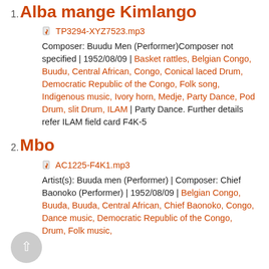Alba mange Kimlango
TP3294-XYZ7523.mp3
Composer: Buudu Men (Performer)Composer not specified | 1952/08/09 | Basket rattles, Belgian Congo, Buudu, Central African, Congo, Conical laced Drum, Democratic Republic of the Congo, Folk song, Indigenous music, Ivory horn, Medje, Party Dance, Pod Drum, slit Drum, ILAM | Party Dance. Further details refer ILAM field card F4K-5
Mbo
AC1225-F4K1.mp3
Artist(s): Buuda men (Performer) | Composer: Chief Baonoko (Performer) | 1952/08/09 | Belgian Congo, Buuda, Buuda, Central African, Chief Baonoko, Congo, Dance music, Democratic Republic of the Congo, Drum, Folk music,